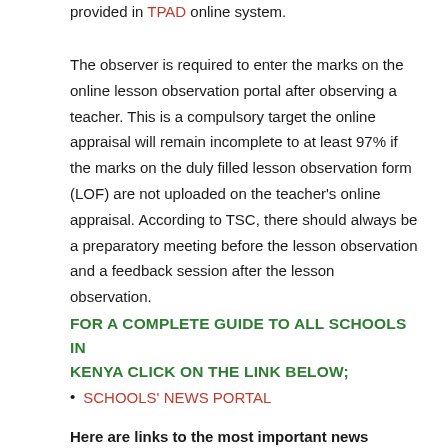provided in TPAD online system.
The observer is required to enter the marks on the online lesson observation portal after observing a teacher. This is a compulsory target the online appraisal will remain incomplete to at least 97% if the marks on the duly filled lesson observation form (LOF) are not uploaded on the teacher's online appraisal. According to TSC, there should always be a preparatory meeting before the lesson observation and a feedback session after the lesson observation.
FOR A COMPLETE GUIDE TO ALL SCHOOLS IN KENYA CLICK ON THE LINK BELOW;
SCHOOLS' NEWS PORTAL
Here are links to the most important news portals: